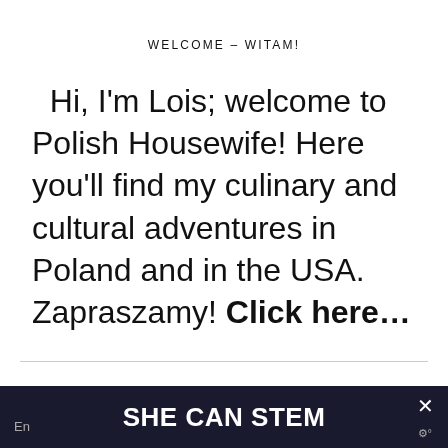WELCOME – WITAM!
Hi, I'm Lois; welcome to Polish Housewife! Here you'll find my culinary and cultural adventures in Poland and in the USA.
Zapraszamy! Click here...
POLISH RECIPES SENT TO YOUR INBOX!
SHE CAN STEM